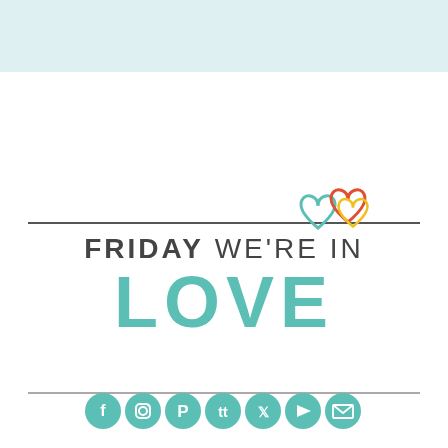[Figure (illustration): Light blue top banner background bar]
FRIDAY WE'RE IN LOVE
[Figure (illustration): Three interlinked heart outlines in mint green, red/orange, and yellow, decorative logo element]
[Figure (illustration): Row of seven circular teal social media icons: Facebook, Instagram, Pinterest, TikTok, Twitter, YouTube, Email]